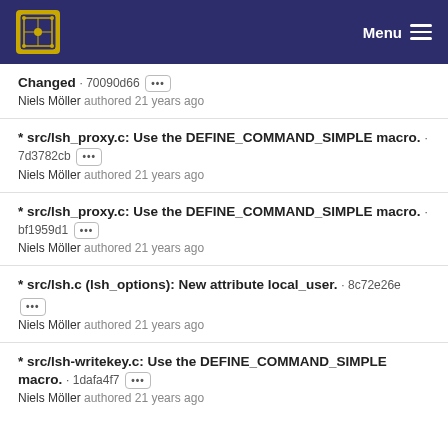Menu
Changed · 70090d66 ··· Niels Möller authored 21 years ago
* src/lsh_proxy.c: Use the DEFINE_COMMAND_SIMPLE macro. · 7d3782cb ··· Niels Möller authored 21 years ago
* src/lsh_proxy.c: Use the DEFINE_COMMAND_SIMPLE macro. · bf1959d1 ··· Niels Möller authored 21 years ago
* src/lsh.c (lsh_options): New attribute local_user. · 8c72e26e ··· Niels Möller authored 21 years ago
* src/lsh-writekey.c: Use the DEFINE_COMMAND_SIMPLE macro. · 1dafa4f7 ··· Niels Möller authored 21 years ago